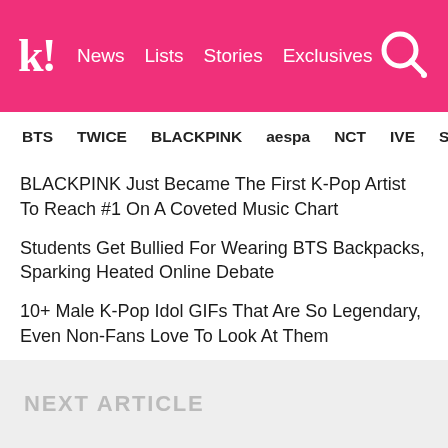k! News Lists Stories Exclusives
BTS TWICE BLACKPINK aespa NCT IVE SHIN
BLACKPINK Just Became The First K-Pop Artist To Reach #1 On A Coveted Music Chart
Students Get Bullied For Wearing BTS Backpacks, Sparking Heated Online Debate
10+ Male K-Pop Idol GIFs That Are So Legendary, Even Non-Fans Love To Look At Them
Which K-Pop Idol Would Wear This, Except It's Literally SHINee's Key
Jun Debuts A New Hairstyle At SEVENTEEN's Toronto Concert And Fans Are Living For It
NEXT ARTICLE